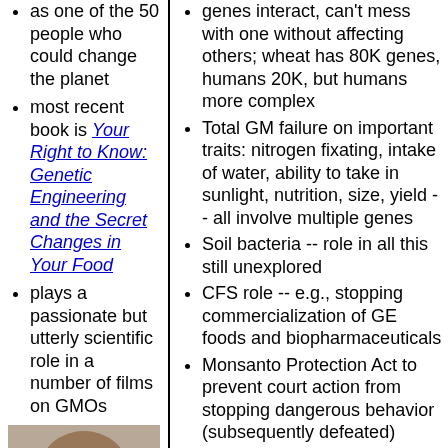as one of the 50 people who could change the planet
most recent book is Your Right to Know: Genetic Engineering and the Secret Changes in Your Food
plays a passionate but utterly scientific role in a number of films on GMOs
[Figure (photo): Photo of a middle-aged man with light brown hair and glasses, looking slightly downward]
genes interact, can't mess with one without affecting others; wheat has 80K genes, humans 20K, but humans more complex
Total GM failure on important traits: nitrogen fixating, intake of water, ability to take in sunlight, nutrition, size, yield -- all involve multiple genes
Soil bacteria -- role in all this still unexplored
CFS role -- e.g., stopping commercialization of GE foods and biopharmaceuticals
Monsanto Protection Act to prevent court action from stopping dangerous behavior (subsequently defeated)
Destruction by industrial farming -- biodiversity (90% of fruit/vegetable varieties), farms, farm communities, endangered species